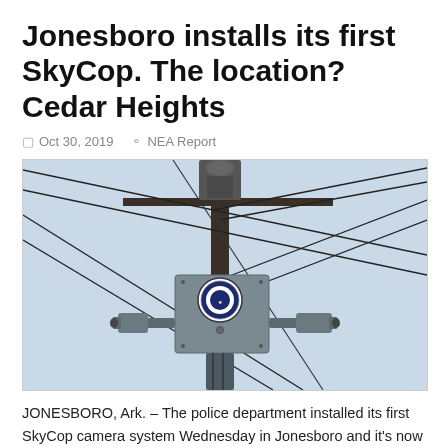Jonesboro installs its first SkyCop. The location? Cedar Heights
Oct 30, 2019  NEA Report
[Figure (photo): A SkyCop camera system mounted on a utility pole with wires, showing a metal box with a police department seal and two surveillance cameras pointing outward, against a pale sky.]
JONESBORO, Ark. – The police department installed its first SkyCop camera system Wednesday in Jonesboro and it's now